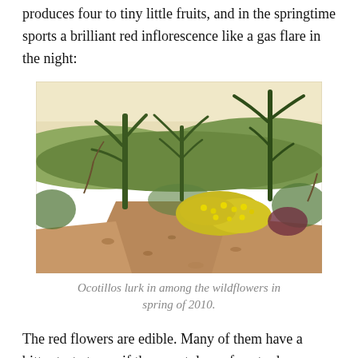produces four to tiny little fruits, and in the springtime sports a brilliant red inflorescence like a gas flare in the night:
[Figure (photo): A desert trail scene with ocotillo cacti, sparse brush, and yellow wildflowers blooming along a dirt path in spring.]
Ocotillos lurk in among the wildflowers in spring of 2010.
The red flowers are edible. Many of them have a bitter taste to me if the sweet drop of nectar has already been